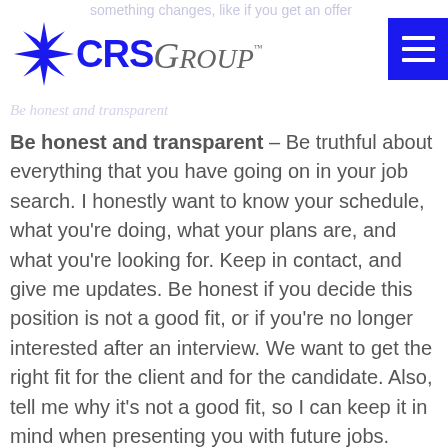something changes, like if you get an offer
[Figure (logo): CRS Group logo with blue star/asterisk icon and blue CRS text followed by italic gray 'Group' text with TM mark]
Be honest and transparent – Be truthful about everything that you have going on in your job search. I honestly want to know your schedule, what you're doing, what your plans are, and what you're looking for. Keep in contact, and give me updates. Be honest if you decide this position is not a good fit, or if you're no longer interested after an interview. We want to get the right fit for the client and for the candidate. Also, tell me why it's not a good fit, so I can keep it in mind when presenting you with future jobs. Don't be afraid to rank the jobs you're interviewing for in order of interest, and tell me where the job I'm presenting you with falls. Our advice would be to interview